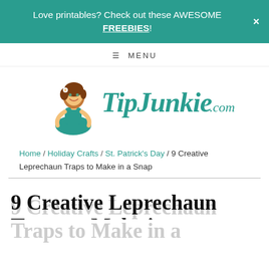Love printables? Check out these AWESOME FREEBIES!
≡ MENU
[Figure (logo): TipJunkie.com logo with cartoon woman character in teal dress and the text TipJunkie.com in teal script font]
Home / Holiday Crafts / St. Patrick's Day / 9 Creative Leprechaun Traps to Make in a Snap
9 Creative Leprechaun Traps to Make in a